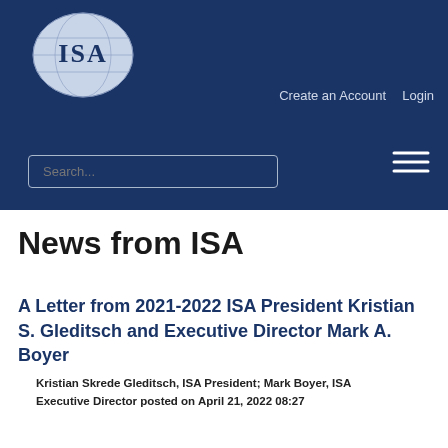[Figure (logo): ISA logo — oval shape with globe and letters ISA]
Create an Account   Login
Search...
News from ISA
A Letter from 2021-2022 ISA President Kristian S. Gleditsch and Executive Director Mark A. Boyer
Kristian Skrede Gleditsch, ISA President; Mark Boyer, ISA Executive Director posted on April 21, 2022 08:27